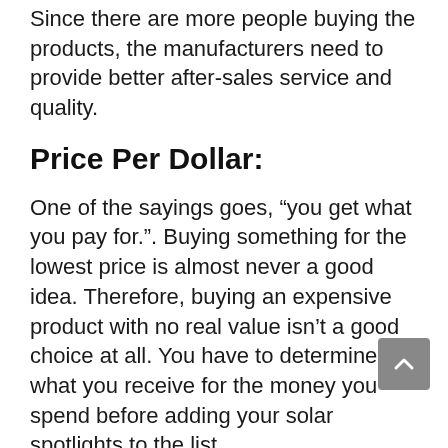Since there are more people buying the products, the manufacturers need to provide better after-sales service and quality.
Price Per Dollar:
One of the sayings goes, “you get what you pay for.”. Buying something for the lowest price is almost never a good idea. Therefore, buying an expensive product with no real value isn’t a good choice at all. You have to determine what you receive for the money you spend before adding your solar spotlights to the list.
Sturdiness: